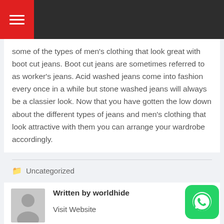Navigation menu header
some of the types of men's clothing that look great with boot cut jeans. Boot cut jeans are sometimes referred to as worker's jeans. Acid washed jeans come into fashion every once in a while but stone washed jeans will always be a classier look. Now that you have gotten the low down about the different types of jeans and men's clothing that look attractive with them you can arrange your wardrobe accordingly.
Uncategorized
Written by worldhide
Visit Website